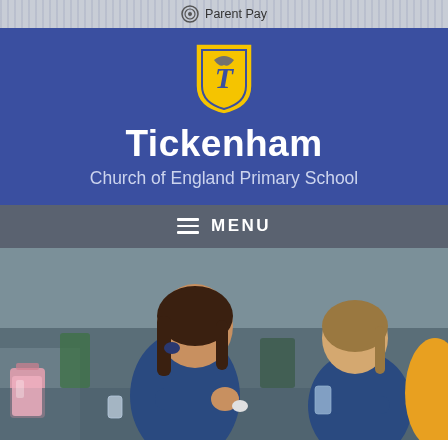Parent Pay
Tickenham
Church of England Primary School
MENU
[Figure (photo): Children in school uniforms doing an outdoor activity, seated at a table with cups and items, blurred background.]
Breakfast and After-School